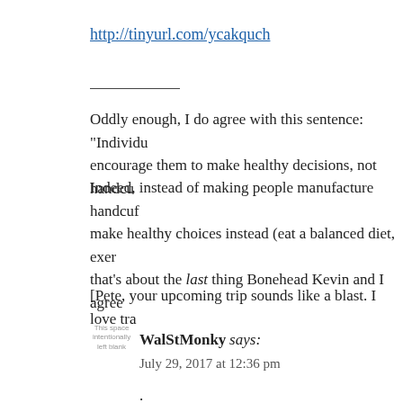http://tinyurl.com/ycakquch
Oddly enough, I do agree with this sentence: “Individu… encourage them to make healthy decisions, not handcu…
Indeed, instead of making people manufacture handcuf… make healthy choices instead (eat a balanced diet, exer… that’s about the last thing Bonehead Kevin and I agree…
[Pete, your upcoming trip sounds like a blast. I love tra…
WalStMonky says: July 29, 2017 at 12:36 pm
.
.